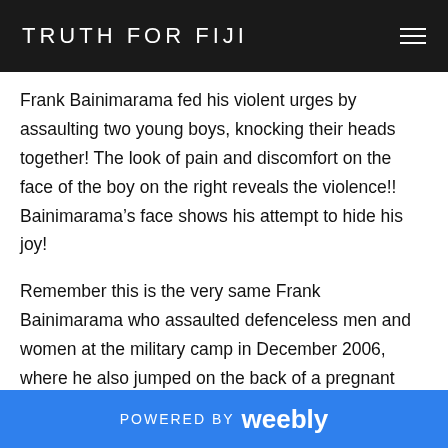TRUTH FOR FIJI
Frank Bainimarama fed his violent urges by assaulting two young boys, knocking their heads together! The look of pain and discomfort on the face of the boy on the right reveals the violence!!  Bainimarama’s face shows his attempt to hide his joy!
Remember this is the very same Frank Bainimarama who assaulted defenceless men and women at the military camp in December 2006, where he also jumped on the back of a pregnant lady who had been forced to lay face-down, killing her unborn child. He also has a record of assaulting other defenceless people.
POWERED BY weebly